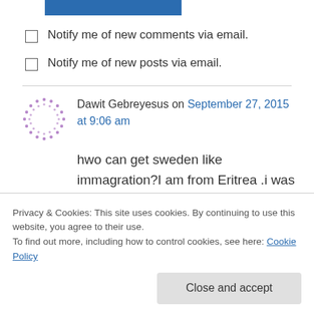[Figure (other): Blue rectangular button/bar at top]
Notify me of new comments via email.
Notify me of new posts via email.
Dawit Gebreyesus on September 27, 2015 at 9:06 am
hwo can get sweden like immagration?I am from Eritrea .i was 8 year in israel. i am refuge in israel i have pepare for the hight international
Privacy & Cookies: This site uses cookies. By continuing to use this website, you agree to their use.
To find out more, including how to control cookies, see here: Cookie Policy